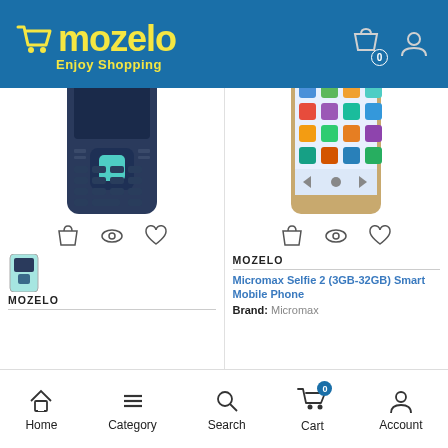mozelo — Enjoy Shopping
[Figure (screenshot): Left product: feature phone (dark blue/navy), with action icons (bag, eye, heart) below the image, a small thumbnail, brand MOZELO, and a divider.]
[Figure (screenshot): Right product: Micromax Selfie 2 smartphone (gold/white), with action icons (bag, eye, heart) below the image, brand MOZELO, product title 'Micromax Selfie 2 (3GB-32GB) Smart Mobile Phone', Brand: Micromax.]
MOZELO
MOZELO
Micromax Selfie 2 (3GB-32GB) Smart Mobile Phone
Brand: Micromax
Home  Category  Search  Cart  Account